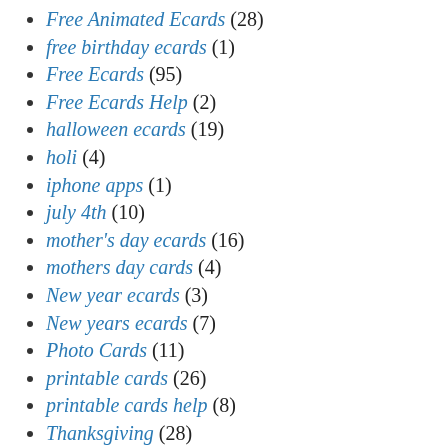Free Animated Ecards (28)
free birthday ecards (1)
Free Ecards (95)
Free Ecards Help (2)
halloween ecards (19)
holi (4)
iphone apps (1)
july 4th (10)
mother's day ecards (16)
mothers day cards (4)
New year ecards (3)
New years ecards (7)
Photo Cards (11)
printable cards (26)
printable cards help (8)
Thanksgiving (28)